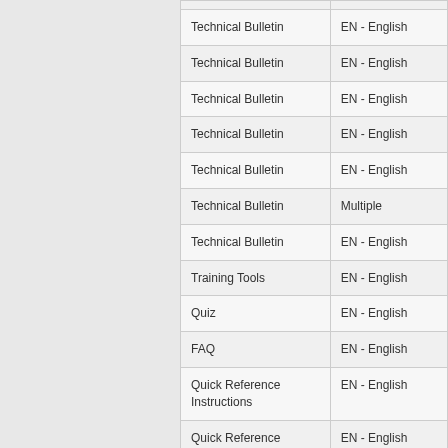|  |  |
| Technical Bulletin | EN - English |
| Technical Bulletin | EN - English |
| Technical Bulletin | EN - English |
| Technical Bulletin | EN - English |
| Technical Bulletin | EN - English |
| Technical Bulletin | Multiple |
| Technical Bulletin | EN - English |
| Training Tools | EN - English |
| Quiz | EN - English |
| FAQ | EN - English |
| Quick Reference Instructions | EN - English |
| Quick Reference Instructions | EN - English |
| Quick Reference Instructions | EN - English |
|  |  |